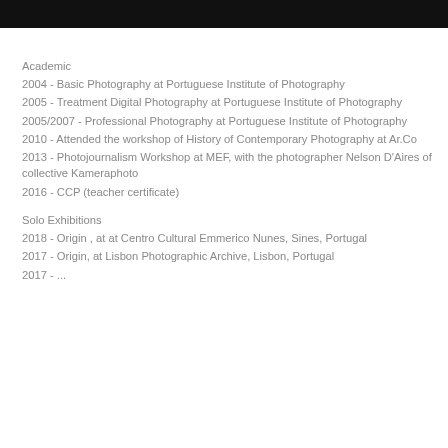[Figure (photo): Black photograph strip at the top of the page]
Academic
2004 - Basic Photography at Portuguese Institute of Photography
2005 - Treatment Digital Photography at Portuguese Institute of Photography
2005/2007 - Professional Photography at Portuguese Institute of Photography
2010 - Attended the workshop of History of Contemporary Photography at Ar.Co
2013 - Photojournalism Workshop at MEF, with the photographer Nelson D'Aires of collective Kameraphoto
2016 - CCP (teacher certificate)
Solo Exhibitions
2018 - Origin , at at Centro Cultural Emmerico Nunes, Sines, Portugal
2017 - Origin, at Lisbon Photographic Archive, Lisbon, Portugal
2017 - ...